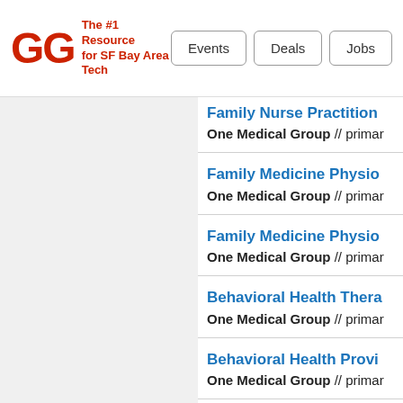GG The #1 Resource for SF Bay Area Tech | Events | Deals | Jobs
Family Nurse Practition... | One Medical Group // primar...
Family Medicine Physio... | One Medical Group // primar...
Family Medicine Physio... | One Medical Group // primar...
Behavioral Health Thera... | One Medical Group // primar...
Behavioral Health Provi... | One Medical Group // primar...
Behavioral Health Provi... | One Medical Group // primar...